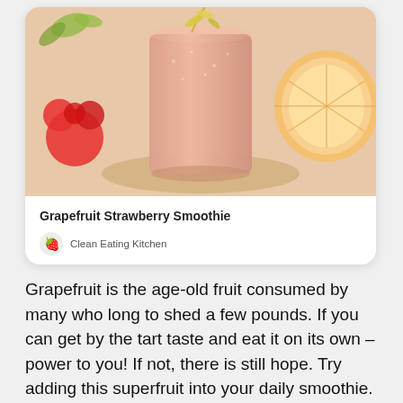[Figure (photo): Card showing a pink grapefruit strawberry smoothie in a glass with a yellow flower garnish, a halved grapefruit on the right, and a red flower on the left, on a wooden surface.]
Grapefruit Strawberry Smoothie
Clean Eating Kitchen
Grapefruit is the age-old fruit consumed by many who long to shed a few pounds. If you can get by the tart taste and eat it on its own – power to you! If not, there is still hope. Try adding this superfruit into your daily smoothie. This Vitamix recipe is bound to be hit if you give it a shot. Get the recipe here.